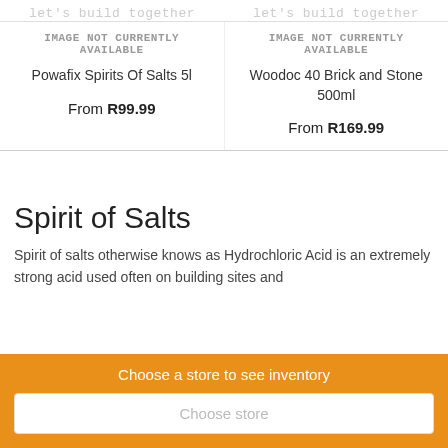let's build together (partial, top, repeated x2)
[Figure (other): IMAGE NOT CURRENTLY AVAILABLE placeholder for Powafix Spirits Of Salts 5l]
Powafix Spirits Of Salts 5l
From R99.99
[Figure (other): IMAGE NOT CURRENTLY AVAILABLE placeholder for Woodoc 40 Brick and Stone 500ml]
Woodoc 40 Brick and Stone 500ml
From R169.99
Spirit of Salts
Spirit of salts otherwise knows as Hydrochloric Acid is an extremely strong acid used often on building sites and
Choose a store to see inventory
Choose store